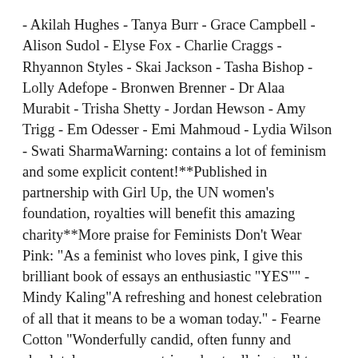- Akilah Hughes - Tanya Burr - Grace Campbell - Alison Sudol - Elyse Fox - Charlie Craggs - Rhyannon Styles - Skai Jackson - Tasha Bishop - Lolly Adefope - Bronwen Brenner - Dr Alaa Murabit - Trisha Shetty - Jordan Hewson - Amy Trigg - Em Odesser - Emi Mahmoud - Lydia Wilson - Swati SharmaWarning: contains a lot of feminism and some explicit content!**Published in partnership with Girl Up, the UN women's foundation, royalties will benefit this amazing charity**More praise for Feminists Don't Wear Pink: "As a feminist who loves pink, I give this brilliant book of essays an enthusiastic "YES"" - Mindy Kaling"A refreshing and honest celebration of all that it means to be a woman today." - Fearne Cotton "Wonderfully candid, often funny and absolutely necessary, a triumphant rallying call to young women." - The Observer"Pick it up and